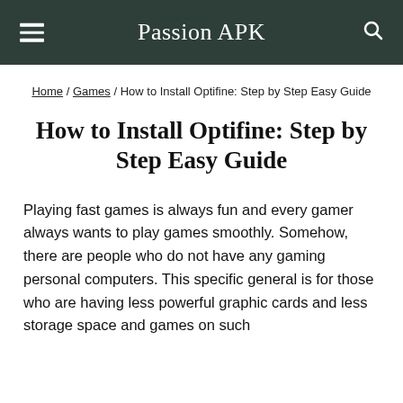Passion APK
Home / Games / How to Install Optifine: Step by Step Easy Guide
How to Install Optifine: Step by Step Easy Guide
Playing fast games is always fun and every gamer always wants to play games smoothly. Somehow, there are people who do not have any gaming personal computers. This specific general is for those who are having less powerful graphic cards and less storage space and games on such